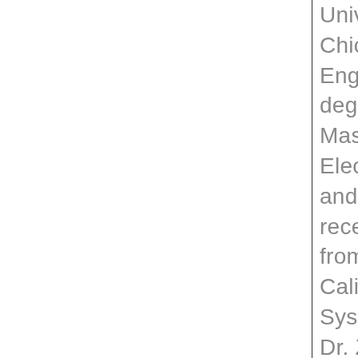University of Illinois at Chicago in Materials Engineering and a M.S. degree from the University of Massachusetts Lowell in Electrical Engineering in 2001 and 2002, respectively. She received her Ph.D. degree from the University of California at Berkeley in Systems Engineering in 2006. Dr. Zhang is a